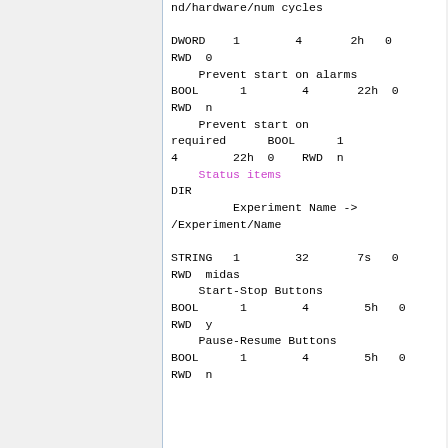nd/hardware/num cycles

DWORD    1        4       2h   0  RWD 0
    Prevent start on alarms
BOOL      1        4       22h  0  RWD  n
    Prevent start on required      BOOL      1
4        22h  0    RWD  n
    Status items
DIR
         Experiment Name -> /Experiment/Name

STRING   1        32       7s   0  RWD  midas
    Start-Stop Buttons
BOOL      1        4        5h   0  RWD  y
    Pause-Resume Buttons
BOOL      1        4        5h   0  RWD  n